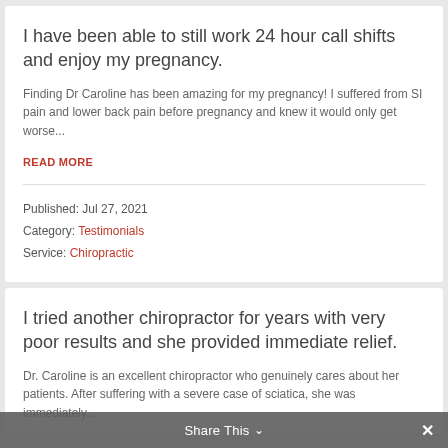I have been able to still work 24 hour call shifts and enjoy my pregnancy.
Finding Dr Caroline has been amazing for my pregnancy! I suffered from SI pain and lower back pain before pregnancy and knew it would only get worse...
READ MORE
Published: Jul 27, 2021
Category: Testimonials
Service: Chiropractic
I tried another chiropractor for years with very poor results and she provided immediate relief.
Dr. Caroline is an excellent chiropractor who genuinely cares about her patients. After suffering with a severe case of sciatica, she was immediately...
Share This